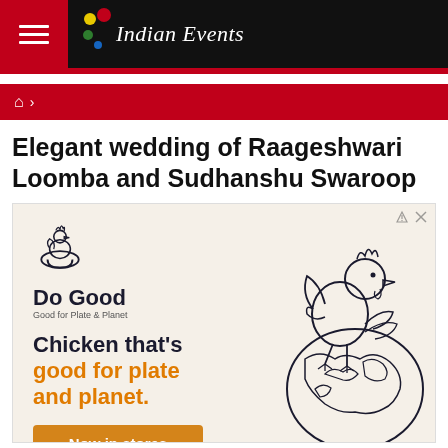Indian Events
Elegant wedding of Raageshwari Loomba and Sudhanshu Swaroop
[Figure (illustration): Do Good brand advertisement showing a chicken illustration on a globe, with the text 'Chicken that's good for plate and planet.' and a 'Now in stores' button. Do Good logo with tagline 'Good for Plate & Planet'.]